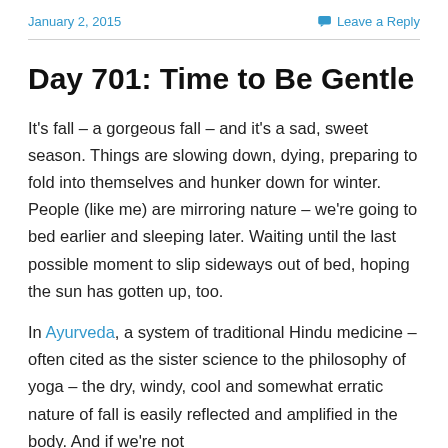January 2, 2015    Leave a Reply
Day 701: Time to Be Gentle
It's fall – a gorgeous fall – and it's a sad, sweet season. Things are slowing down, dying, preparing to fold into themselves and hunker down for winter. People (like me) are mirroring nature – we're going to bed earlier and sleeping later. Waiting until the last possible moment to slip sideways out of bed, hoping the sun has gotten up, too.
In Ayurveda, a system of traditional Hindu medicine – often cited as the sister science to the philosophy of yoga – the dry, windy, cool and somewhat erratic nature of fall is easily reflected and amplified in the body. And if we're not